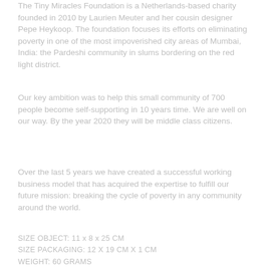The Tiny Miracles Foundation is a Netherlands-based charity founded in 2010 by Laurien Meuter and her cousin designer Pepe Heykoop. The foundation focuses its efforts on eliminating poverty in one of the most impoverished city areas of Mumbai, India: the Pardeshi community in slums bordering on the red light district.
Our key ambition was to help this small community of 700 people become self-supporting in 10 years time. We are well on our way. By the year 2020 they will be middle class citizens.
Over the last 5 years we have created a successful working business model that has acquired the expertise to fulfill our future mission: breaking the cycle of poverty in any community around the world.
SIZE OBJECT: 11 x 8 x 25 CM
SIZE PACKAGING: 12 X 19 CM X 1 CM
WEIGHT: 60 GRAMS